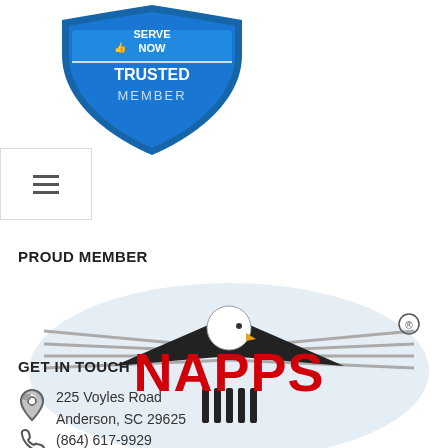[Figure (logo): ServeNow Trusted Member badge - blue shield shaped badge with SERVE NOW and TRUSTED MEMBER text]
[Figure (other): Hamburger menu icon with three horizontal lines inside a white bordered box]
PROUD MEMBER
[Figure (logo): NAPPS logo - eagle with spread wings above red bold NAPPS text, with registered trademark symbol]
GET IN TOUCH
225 Voyles Road
Anderson, SC 29625
(864) 617-9929